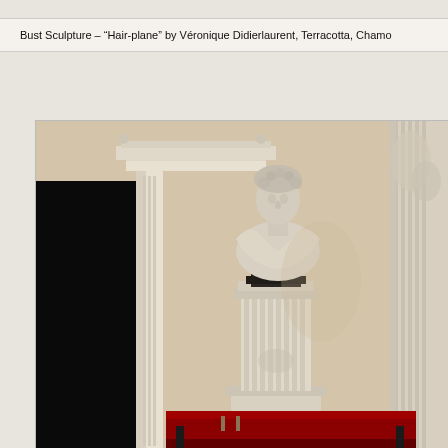Bust Sculpture – "Hair-plane" by Véronique Didierlaurent, Terracotta, Chamo...
[Figure (photo): Interior room photograph showing classical architectural elements: ornate white plaster doorframe on the left with a dark open door, a classical bust sculpture mounted on a tall fluted pedestal column in the center against a warm beige wall, and elaborate decorative carved pilasters/columns on the right side. In the foreground at the bottom is a red and black piece of furniture. The bust depicts a Roman-style figure with curly hair.]